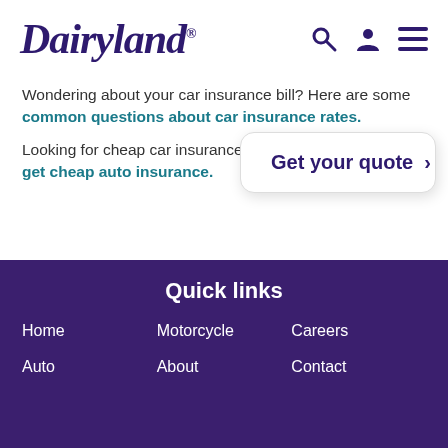Dairyland® [logo with search, account, and menu icons]
Wondering about your car insurance bill? Here are some common questions about car insurance rates.
Looking for cheap car insurance? Here are 10 ways to get cheap auto insurance.
[Figure (other): Get your quote button with chevron arrow]
Quick links
Home
Motorcycle
Careers
Auto
About
Contact